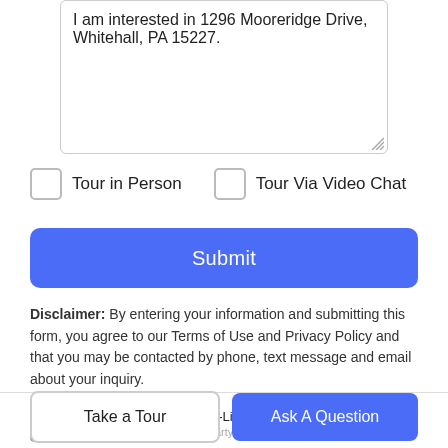I am interested in 1296 Mooreridge Drive, Whitehall, PA 15227.
Tour in Person
Tour Via Video Chat
Submit
Disclaimer: By entering your information and submitting this form, you agree to our Terms of Use and Privacy Policy and that you may be contacted by phone, text message and email about your inquiry.
© 2022 West Penn Multi-List, Inc. All Rights Reserved.
Take a Tour
Ask A Question